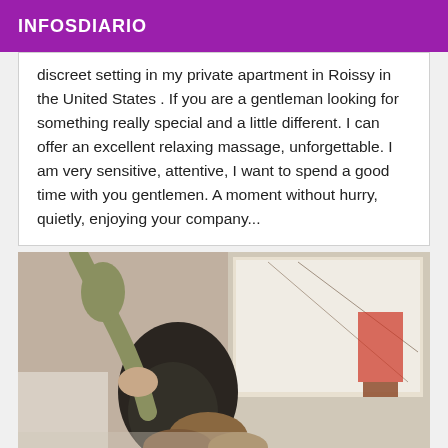INFOSDIARIO
discreet setting in my private apartment in Roissy in the United States . If you are a gentleman looking for something really special and a little different. I can offer an excellent relaxing massage, unforgettable. I am very sensitive, attentive, I want to spend a good time with you gentlemen. A moment without hurry, quietly, enjoying your company...
[Figure (photo): Photo of two people in a room with artwork on the wall in the background]